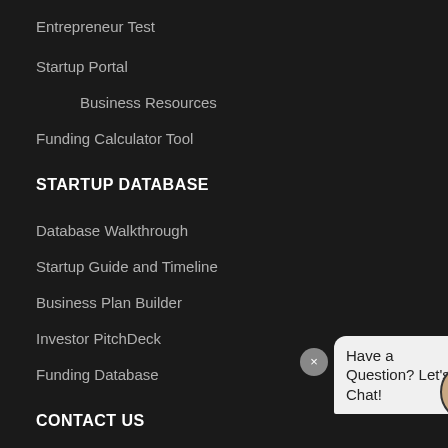Entrepreneur Test
Startup Portal
Business Resources
Funding Calculator Tool
STARTUP DATABASE
Database Walkthrough
Startup Guide and Timeline
Business Plan Builder
Investor PitchDeck
Funding Database
CONTACT US
[Figure (illustration): Chat widget with close button (×), speech bubble saying 'Have a Question? Let's Chat!', and a circular avatar of a man with a green online indicator dot.]